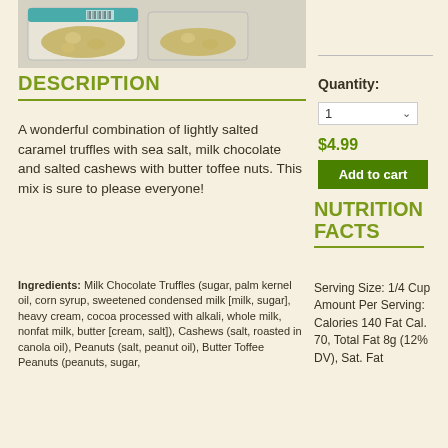[Figure (photo): Product photo showing containers of mixed nuts and chocolates]
DESCRIPTION
A wonderful combination of lightly salted caramel truffles with sea salt, milk chocolate and salted cashews with butter toffee nuts. This mix is sure to please everyone!
Ingredients: Milk Chocolate Truffles (sugar, palm kernel oil, corn syrup, sweetened condensed milk [milk, sugar], heavy cream, cocoa processed with alkali, whole milk, nonfat milk, butter [cream, salt]), Cashews (salt, roasted in canola oil), Peanuts (salt, peanut oil), Butter Toffee Peanuts (peanuts, sugar,
Quantity:
1
$4.99
Add to cart
NUTRITION FACTS
Serving Size: 1/4 Cup Amount Per Serving: Calories 140 Fat Cal. 70, Total Fat 8g (12% DV), Sat. Fat